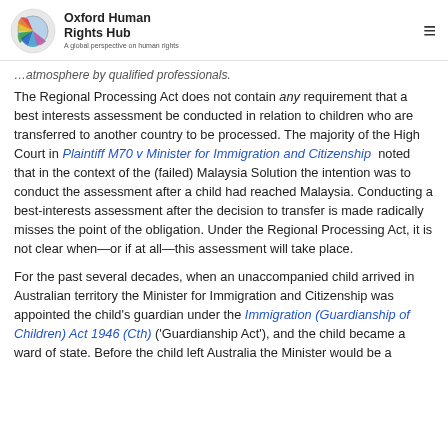Oxford Human Rights Hub — A global perspective on human rights
atmosphere by qualified professionals.
The Regional Processing Act does not contain any requirement that a best interests assessment be conducted in relation to children who are transferred to another country to be processed. The majority of the High Court in Plaintiff M70 v Minister for Immigration and Citizenship noted that in the context of the (failed) Malaysia Solution the intention was to conduct the assessment after a child had reached Malaysia. Conducting a best-interests assessment after the decision to transfer is made radically misses the point of the obligation. Under the Regional Processing Act, it is not clear when—or if at all—this assessment will take place.
For the past several decades, when an unaccompanied child arrived in Australian territory the Minister for Immigration and Citizenship was appointed the child's guardian under the Immigration (Guardianship of Children) Act 1946 (Cth) ('Guardianship Act'), and the child became a ward of state. Before the child left Australia the Minister would be a...